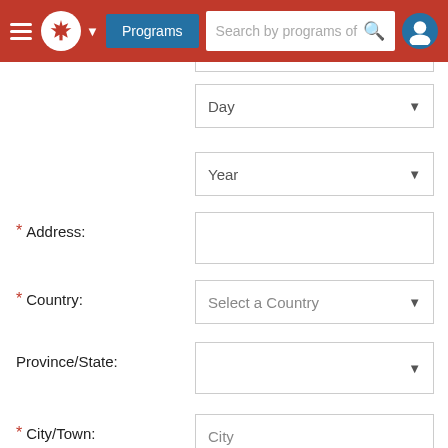[Figure (screenshot): Canadian government website header with hamburger menu, maple leaf logo, Programs button, search bar, and user icon]
Day (dropdown)
Year (dropdown)
* Address:
* Country: Select a Country (dropdown)
Province/State: (dropdown)
* City/Town: City (placeholder)
Postal Code:
* Phone: (include area code)